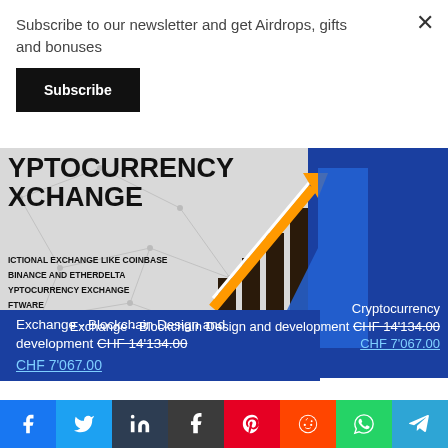Subscribe to our newsletter and get Airdrops, gifts and bonuses
Subscribe
[Figure (screenshot): Cryptocurrency exchange promotional banner showing partial text: YPTOCURRENCY XCHANGE, ICTIONAL EXCHANGE LIKE COINBASE, BINANCE AND ETHERDELTA, YPTOCURRENCY EXCHANGE, FTWARE, SECURITY FEATURES, with an upward arrow bar chart graphic on a blue background]
Cryptocurrency Exchange - Blockchain Design and development CHF 14'134.00 CHF 7'067.00